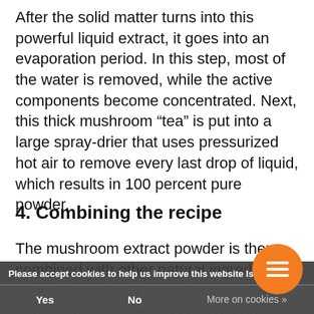After the solid matter turns into this powerful liquid extract, it goes into an evaporation period. In this step, most of the water is removed, while the active components become concentrated. Next, this thick mushroom “tea” is put into a large spray-drier that uses pressurized hot air to remove every last drop of liquid, which results in 100 percent pure powder.
4. Combining the recipe
The mushroom extract powder is then combined with other natural ingredients to help add a tasty flavor and even further enhance the effects. Last but not least, each batch goes through a long in-house, third-party laboratory testing to ensure the quality and safety of each product. From there, it gets shipped to your home. All you have to do is add hot water and enjoy.
Please accept cookies to help us improve this website Is th